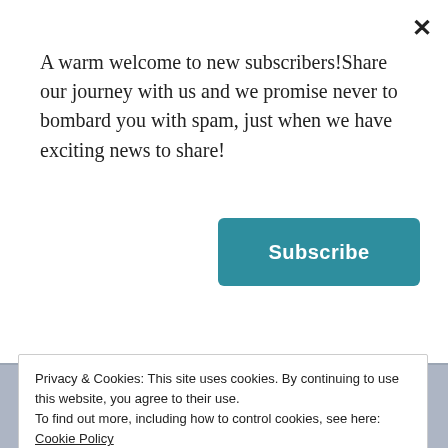A warm welcome to new subscribers!Share our journey with us and we promise never to bombard you with spam, just when we have exciting news to share!
[Figure (other): Subscribe button — teal rounded rectangle with white bold text 'Subscribe']
[Figure (illustration): Cartoon avatar of a blonde woman with glasses and a green headband, waving, with the word 'hi' above her]
jenanita01
FEBRUARY 21, 2016 AT 9:49 AM
perfectly, any more?
Privacy & Cookies: This site uses cookies. By continuing to use this website, you agree to their use.
To find out more, including how to control cookies, see here: Cookie Policy
Close and accept